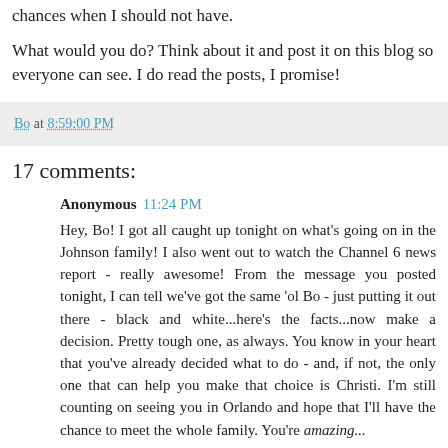chances when I should not have.
What would you do? Think about it and post it on this blog so everyone can see. I do read the posts, I promise!
Bo at 8:59:00 PM
17 comments:
Anonymous  11:24 PM
Hey, Bo! I got all caught up tonight on what's going on in the Johnson family! I also went out to watch the Channel 6 news report - really awesome! From the message you posted tonight, I can tell we've got the same 'ol Bo - just putting it out there - black and white...here's the facts...now make a decision. Pretty tough one, as always. You know in your heart that you've already decided what to do - and, if not, the only one that can help you make that choice is Christi. I'm still counting on seeing you in Orlando and hope that I'll have the chance to meet the whole family. You're amazing...